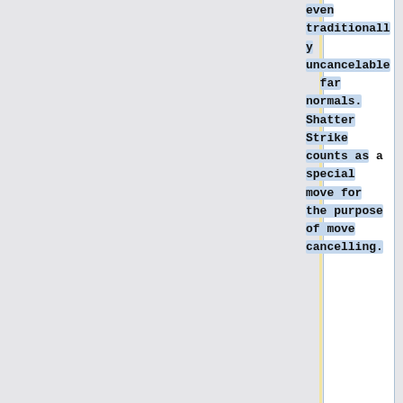even traditionally uncancelable far normals. Shatter Strike counts as a special move for the purpose of move cancelling.
Certain Special Moves can also be canceled